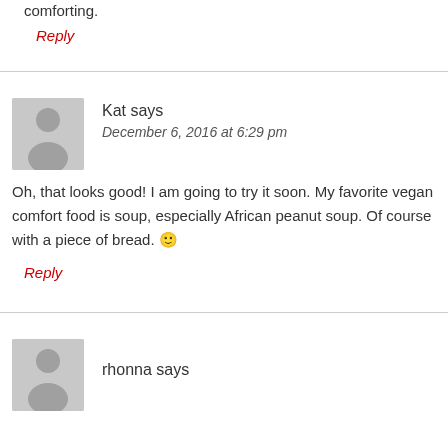comforting.
Reply
Kat says
December 6, 2016 at 6:29 pm
Oh, that looks good! I am going to try it soon. My favorite vegan comfort food is soup, especially African peanut soup. Of course with a piece of bread. 🙂
Reply
rhonna says